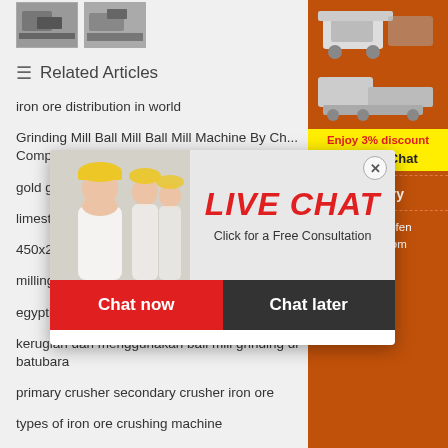[Figure (photo): Two small thumbnail images of mining/crushing machinery]
Related Articles
iron ore distribution in world
Grinding Mill Ball Mill Ball Mill Machine By Ch... Comp...
gold g...
limest...
450x2...
milling...
egyptian gypsum suppliers to kenya
kerugian dari menggunakan ball mill grinding di batubara
primary crusher secondary crusher iron ore
types of iron ore crushing machine
motor of stone crusher plant
[Figure (photo): Sidebar with machinery images, discount offer, enquiry section and email contact limingjlmofen@sina.com]
[Figure (screenshot): Live Chat popup overlay with photo of worker, LIVE CHAT text in red italic, 'Click for a Free Consultation' subtitle, Chat now (red) and Chat later (dark) buttons, and close button]